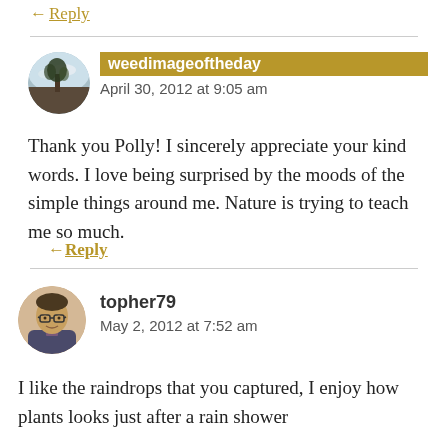← Reply
weedimageoftheday
April 30, 2012 at 9:05 am
Thank you Polly! I sincerely appreciate your kind words. I love being surprised by the moods of the simple things around me. Nature is trying to teach me so much.
← Reply
topher79
May 2, 2012 at 7:52 am
I like the raindrops that you captured, I enjoy how plants looks just after a rain shower